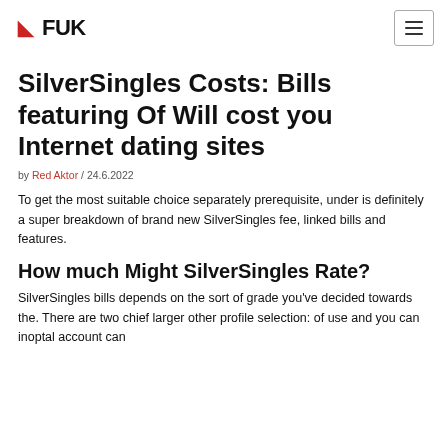FUK
SilverSingles Costs: Bills featuring Of Will cost you Internet dating sites
by Red Aktor / 24.6.2022
To get the most suitable choice separately prerequisite, under is definitely a super breakdown of brand new SilverSingles fee, linked bills and features.
How much Might SilverSingles Rate?
SilverSingles bills depends on the sort of grade you've decided towards the. There are two chief larger other profile selection: of use and you can inoptal account can